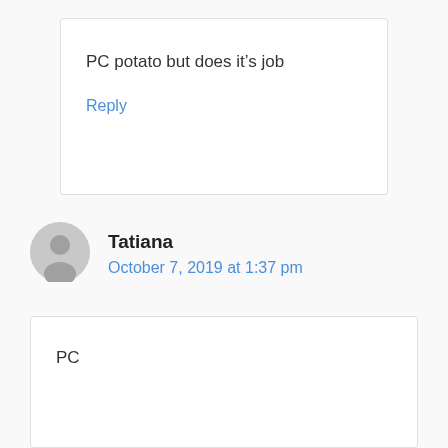PC potato but does it's job
Reply
Tatiana
October 7, 2019 at 1:37 pm
PC